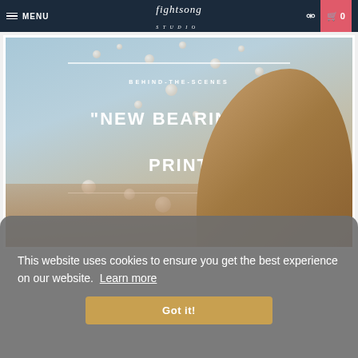MENU | fightsong studio | search | cart 0
[Figure (illustration): Behind-the-scenes promotional image for 'New Bearings' print, showing pearls/bubbles floating over a sandy outdoor scene with text overlay on sky background]
This website uses cookies to ensure you get the best experience on our website. Learn more
Got it!